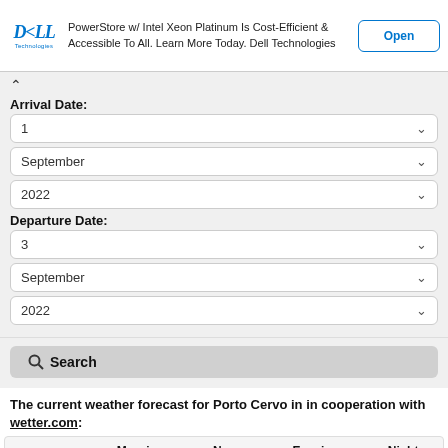[Figure (other): Dell Technologies advertisement banner with logo, text about PowerStore with Intel Xeon Platinum, and Open button]
Arrival Date:
1
September
2022
Departure Date:
3
September
2022
Search
The current weather forecast for Porto Cervo in in cooperation with wetter.com:
|  | Morning | Noon | Evening | Night |
| --- | --- | --- | --- | --- |
| Today: | [sun icon] | [sun icon] | [partly cloudy icon] | [night icon] |